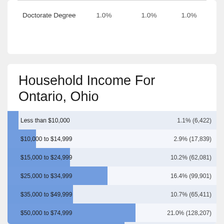|  |  |  |  |
| --- | --- | --- | --- |
| Doctorate Degree | 1.0% | 1.0% | 1.0% |
Household Income For Ontario, Ohio
[Figure (bar-chart): Household Income For Ontario, Ohio]